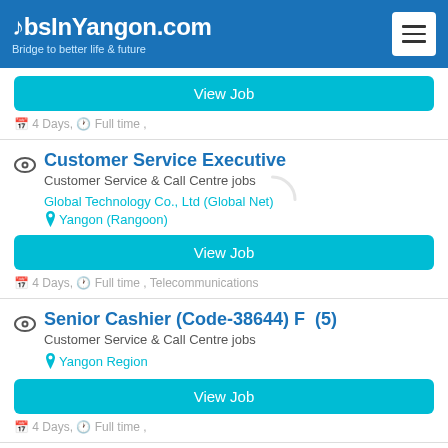JobsInYangon.com - Bridge to better life & future
View Job
4 Days, Full time ,
Customer Service Executive
Customer Service & Call Centre jobs
Global Technology Co., Ltd (Global Net)
Yangon (Rangoon)
View Job
4 Days, Full time , Telecommunications
Senior Cashier (Code-38644) F  (5)
Customer Service & Call Centre jobs
Yangon Region
View Job
4 Days, Full time ,
Bus Crew